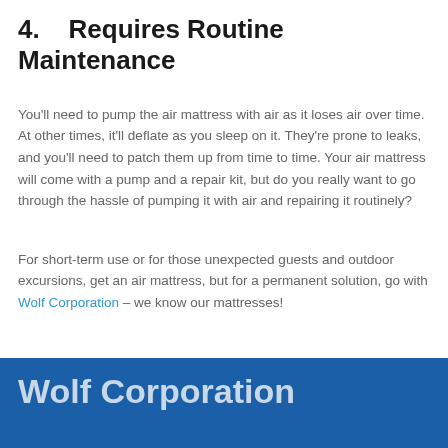4.    Requires Routine Maintenance
You'll need to pump the air mattress with air as it loses air over time. At other times, it'll deflate as you sleep on it. They're prone to leaks, and you'll need to patch them up from time to time. Your air mattress will come with a pump and a repair kit, but do you really want to go through the hassle of pumping it with air and repairing it routinely?
For short-term use or for those unexpected guests and outdoor excursions, get an air mattress, but for a permanent solution, go with Wolf Corporation – we know our mattresses!
Wolf Corporation